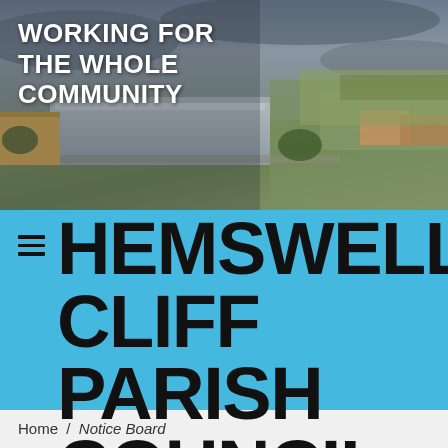[Figure (photo): Aerial drone photograph of Hemswell Cliff community, showing industrial/commercial buildings, green fields, and residential area at dusk or dawn with overcast sky.]
WORKING FOR THE WHOLE COMMUNITY
HEMSWELL CLIFF PARISH COUNCIL
Home / Notice Board